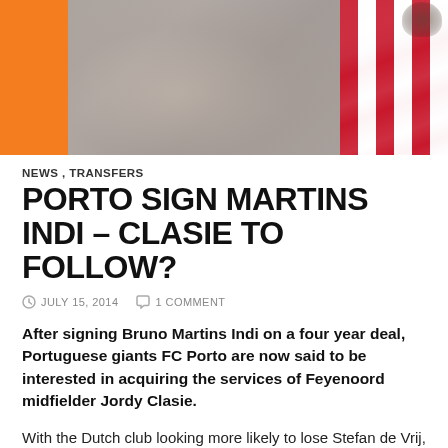[Figure (photo): Header image with orange block on left, blurred background in center, and red/white striped Feyenoord jersey on right]
NEWS , TRANSFERS
PORTO SIGN MARTINS INDI – CLASIE TO FOLLOW?
JULY 15, 2014   1 COMMENT
After signing Bruno Martins Indi on a four year deal, Portuguese giants FC Porto are now said to be interested in acquiring the services of Feyenoord midfielder Jordy Clasie.
With the Dutch club looking more likely to lose Stefan de Vrij, and Daryl Janmaat, Graziano Pelle along with Martins Indi, the club are in a process of time...